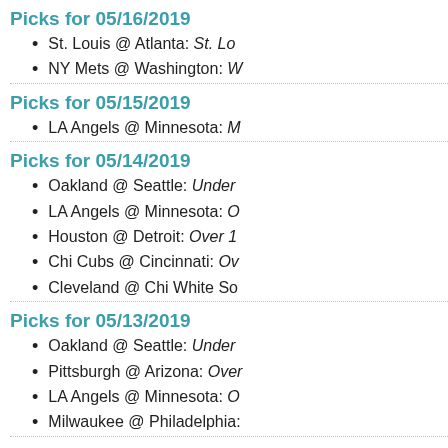Picks for 05/16/2019
St. Louis @ Atlanta: St. Lo…
NY Mets @ Washington: W…
Picks for 05/15/2019
LA Angels @ Minnesota: M…
Picks for 05/14/2019
Oakland @ Seattle: Under…
LA Angels @ Minnesota: O…
Houston @ Detroit: Over 1…
Chi Cubs @ Cincinnati: Ov…
Cleveland @ Chi White So…
Picks for 05/13/2019
Oakland @ Seattle: Under…
Pittsburgh @ Arizona: Over…
LA Angels @ Minnesota: O…
Milwaukee @ Philadelphia:…
Picks for 05/12/2019
Atlanta @ Arizona: Under S…
Cincinnati @ San Francisc…
San Diego @ Colorado: Ov…
Picks for 05/10/2019
Cincinnati @ San Francisc…